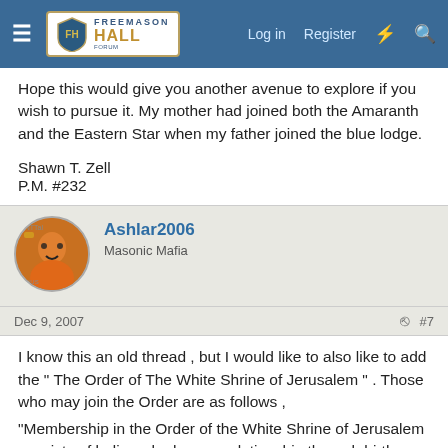Freemason Hall | Log in | Register
Hope this would give you another avenue to explore if you wish to pursue it. My mother had joined both the Amaranth and the Eastern Star when my father joined the blue lodge.

Shawn T. Zell
P.M. #232
Ashlar2006
Masonic Mafia
Dec 9, 2007  #7
I know this an old thread , but I would like to also like to add the " The Order of The White Shrine of Jerusalem " . Those who may join the Order are as follows ,
"Membership in the Order of the White Shrine of Jerusalem consists of ladies who have a relationship through birth, marriage or legal adoption to a Master Mason in good standing and have received directions at the time of his death in